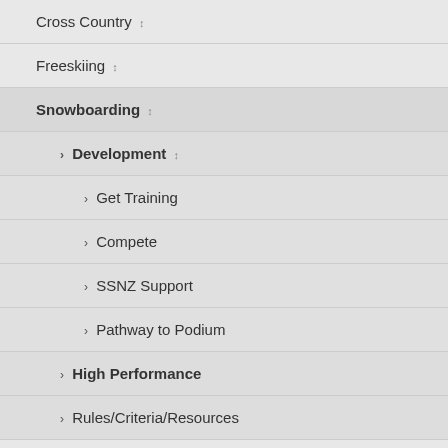Cross Country
Freeskiing
Snowboarding
> Development
> Get Training
> Compete
> SSNZ Support
> Pathway to Podium
> High Performance
> Rules/Criteria/Resources